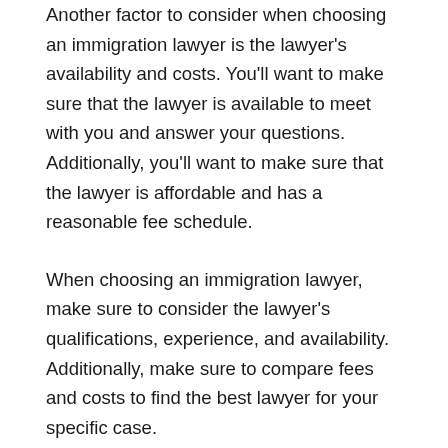Another factor to consider when choosing an immigration lawyer is the lawyer's availability and costs. You'll want to make sure that the lawyer is available to meet with you and answer your questions. Additionally, you'll want to make sure that the lawyer is affordable and has a reasonable fee schedule.
When choosing an immigration lawyer, make sure to consider the lawyer's qualifications, experience, and availability. Additionally, make sure to compare fees and costs to find the best lawyer for your specific case.
What to do if you are facing deportation or legal issues related to your status as an